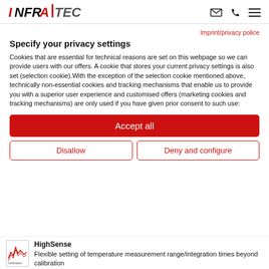[Figure (logo): InfraTec logo in red and black italic text with a vertical bar separator]
Imprint/privacy police
Specify your privacy settings
Cookies that are essential for technical reasons are set on this webpage so we can provide users with our offers. A cookie that stores your current privacy settings is also set (selection cookie).With the exception of the selection cookie mentioned above, technically non-essential cookies and tracking mechanisms that enable us to provide you with a superior user experience and customised offers (marketing cookies and tracking mechanisms) are only used if you have given prior consent to such use:
Accept all
Disallow
Deny and configure
[Figure (logo): Calibration logo icon - small square with red waveform lines and 'Calibration' text]
HighSense
Flexible setting of temperature measurement range/integration times beyond calibration